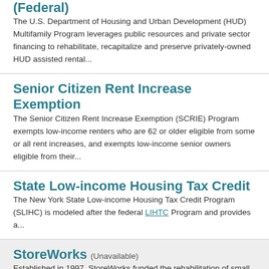(Federal)
The U.S. Department of Housing and Urban Development (HUD) Multifamily Program leverages public resources and private sector financing to rehabilitate, recapitalize and preserve privately-owned HUD assisted rental...
Senior Citizen Rent Increase Exemption
The Senior Citizen Rent Increase Exemption (SCRIE) Program exempts low-income renters who are 62 or older eligible from some or all rent increases, and exempts low-income senior owners eligible from their...
State Low-income Housing Tax Credit
The New York State Low-income Housing Tax Credit Program (SLIHC) is modeled after the federal LIHTC Program and provides a...
StoreWorks (Unavailable)
Established in 1997, StoreWorks funded the rehabilitation of small, vacant, mixed use buildings owned by New York City and restored...